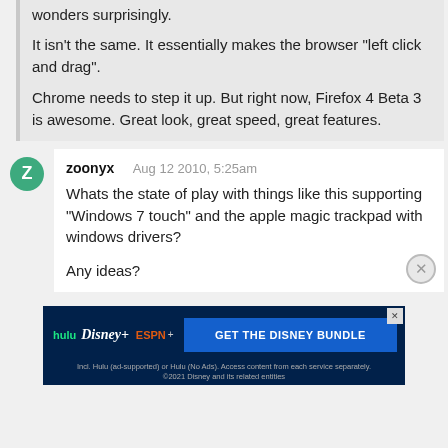wonders surprisingly.
It isn't the same. It essentially makes the browser "left click and drag".
Chrome needs to step it up. But right now, Firefox 4 Beta 3 is awesome. Great look, great speed, great features.
zoonyx  Aug 12 2010, 5:25am
Whats the state of play with things like this supporting "Windows 7 touch" and the apple magic trackpad with windows drivers?

Any ideas?
[Figure (screenshot): Disney Bundle advertisement showing Hulu, Disney+, and ESPN+ logos with 'GET THE DISNEY BUNDLE' call to action button. Footer text: Incl. Hulu (ad-supported) or Hulu (No Ads). Access content from each service separately. ©2021 Disney and its related entities]